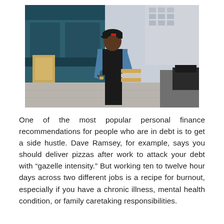[Figure (photo): A woman wearing a blue denim jacket and black cap walking on a city sidewalk, carrying pizza boxes and looking at her phone/watch. Urban street scene with buildings in the background.]
One of the most popular personal finance recommendations for people who are in debt is to get a side hustle. Dave Ramsey, for example, says you should deliver pizzas after work to attack your debt with “gazelle intensity.” But working ten to twelve hour days across two different jobs is a recipe for burnout, especially if you have a chronic illness, mental health condition, or family caretaking responsibilities.